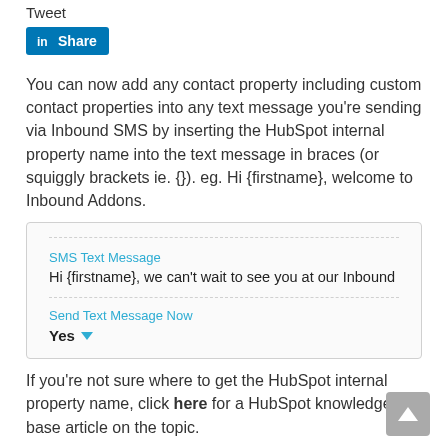Tweet
[Figure (logo): LinkedIn Share button with blue background and white text]
You can now add any contact property including custom contact properties into any text message you're sending via Inbound SMS by inserting the HubSpot internal property name into the text message in braces (or squiggly brackets ie. {}). eg. Hi {firstname}, welcome to Inbound Addons.
[Figure (screenshot): SMS Text Message input showing 'Hi {firstname}, we can't wait to see you at our Inbound' and Send Text Message Now set to Yes]
If you're not sure where to get the HubSpot internal property name, click here for a HubSpot knowledge base article on the topic.
Dates are a special case